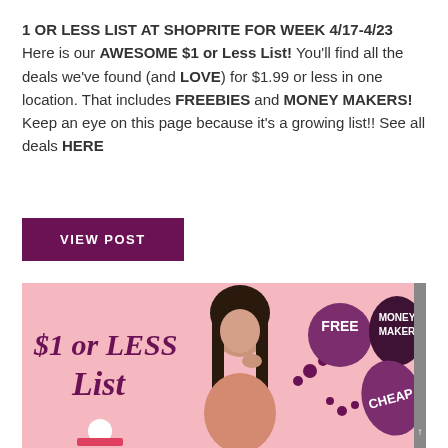1 OR LESS LIST AT SHOPRITE FOR WEEK 4/17-4/23 Here is our AWESOME $1 or Less List! You'll find all the deals we've found (and LOVE) for $1.99 or less in one location. That includes FREEBIES and MONEY MAKERS! Keep an eye on this page because it's a growing list!! See all deals HERE
VIEW POST
[Figure (illustration): Pink banner image showing a woman thinking, with purple speech bubble circles containing the words FREE, MONEY MAKER, and CHEAP, and large purple text reading '$1 or LESS List' on the left side.]